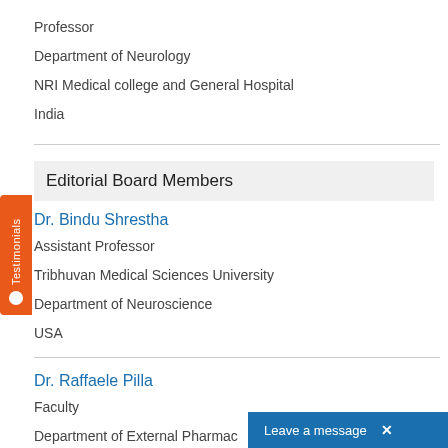Professor
Department of Neurology
NRI Medical college and General Hospital
India
Editorial Board Members
Dr. Bindu Shrestha
Assistant Professor
Tribhuvan Medical Sciences University
Department of Neuroscience
USA
Dr. Raffaele Pilla
Faculty
Department of External Pharmac...